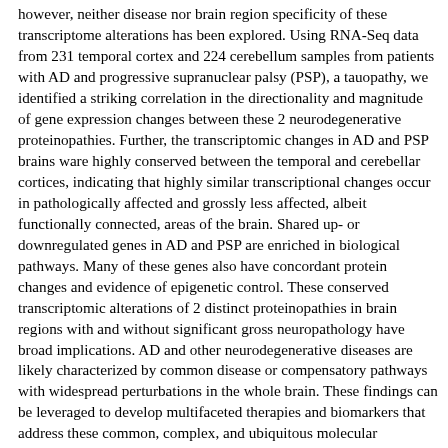however, neither disease nor brain region specificity of these transcriptome alterations has been explored. Using RNA-Seq data from 231 temporal cortex and 224 cerebellum samples from patients with AD and progressive supranuclear palsy (PSP), a tauopathy, we identified a striking correlation in the directionality and magnitude of gene expression changes between these 2 neurodegenerative proteinopathies. Further, the transcriptomic changes in AD and PSP brains ware highly conserved between the temporal and cerebellar cortices, indicating that highly similar transcriptional changes occur in pathologically affected and grossly less affected, albeit functionally connected, areas of the brain. Shared up- or downregulated genes in AD and PSP are enriched in biological pathways. Many of these genes also have concordant protein changes and evidence of epigenetic control. These conserved transcriptomic alterations of 2 distinct proteinopathies in brain regions with and without significant gross neuropathology have broad implications. AD and other neurodegenerative diseases are likely characterized by common disease or compensatory pathways with widespread perturbations in the whole brain. These findings can be leveraged to develop multifaceted therapies and biomarkers that address these common, complex, and ubiquitous molecular alterations in neurodegenerative diseases.